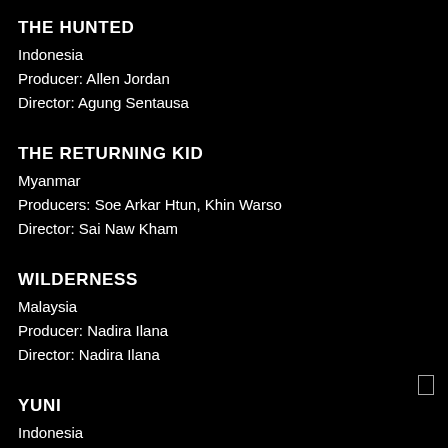THE HUNTED
Indonesia
Producer: Allen Jordan
Director: Agung Sentausa
THE RETURNING KID
Myanmar
Producers: Soe Arkar Htun, Khin Warso
Director: Sai Naw Kham
WILDERNESS
Malaysia
Producer: Nadira Ilana
Director: Nadira Ilana
YUNI
Indonesia